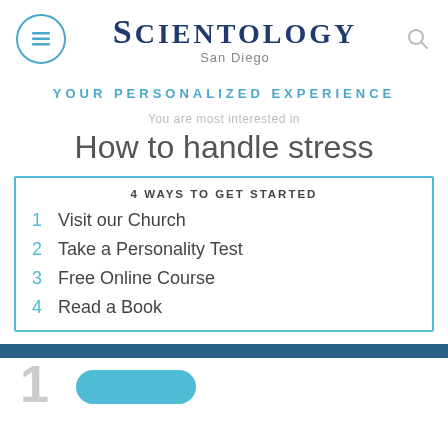SCIENTOLOGY San Diego
YOUR PERSONALIZED EXPERIENCE
You are most interested in
How to handle stress
4 WAYS TO GET STARTED
1 Visit our Church
2 Take a Personality Test
3 Free Online Course
4 Read a Book